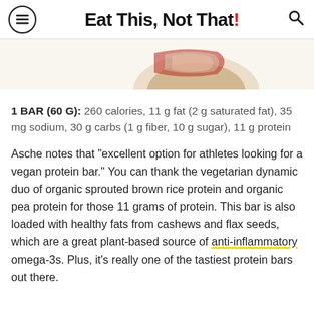Eat This, Not That!
[Figure (photo): Partial top view of a colorful protein bar wrapper on a white background]
1 BAR (60 G): 260 calories, 11 g fat (2 g saturated fat), 35 mg sodium, 30 g carbs (1 g fiber, 10 g sugar), 11 g protein
Asche notes that "excellent option for athletes looking for a vegan protein bar." You can thank the vegetarian dynamic duo of organic sprouted brown rice protein and organic pea protein for those 11 grams of protein. This bar is also loaded with healthy fats from cashews and flax seeds, which are a great plant-based source of anti-inflammatory omega-3s. Plus, it's really one of the tastiest protein bars out there.